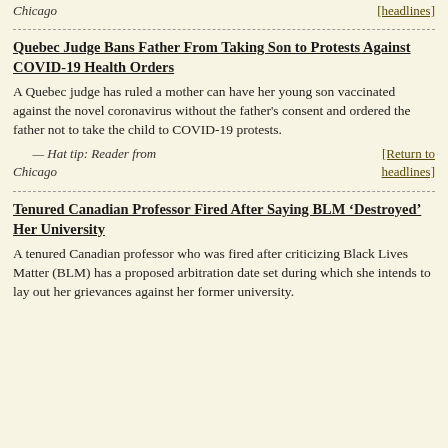Chicago	[headlines]
Quebec Judge Bans Father From Taking Son to Protests Against COVID-19 Health Orders
A Quebec judge has ruled a mother can have her young son vaccinated against the novel coronavirus without the father's consent and ordered the father not to take the child to COVID-19 protests.
— Hat tip: Reader from Chicago	[Return to headlines]
Tenured Canadian Professor Fired After Saying BLM ‘Destroyed’ Her University
A tenured Canadian professor who was fired after criticizing Black Lives Matter (BLM) has a proposed arbitration date set during which she intends to lay out her grievances against her former university.